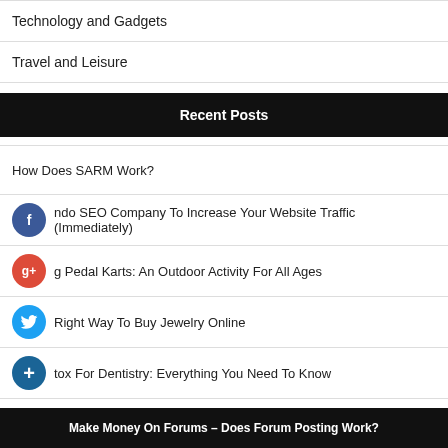Technology and Gadgets
Travel and Leisure
Recent Posts
How Does SARM Work?
ndo SEO Company To Increase Your Website Traffic (Immediately)
g Pedal Karts: An Outdoor Activity For All Ages
Right Way To Buy Jewelry Online
tox For Dentistry: Everything You Need To Know
Make Money On Forums – Does Forum Posting Work?